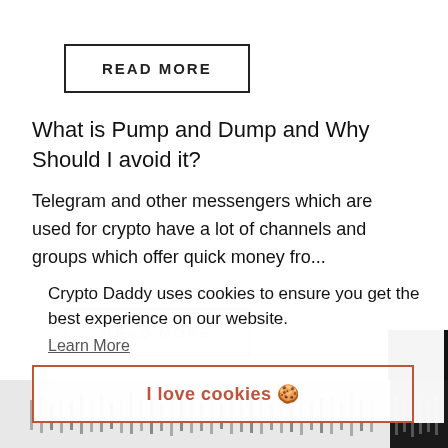READ MORE
What is Pump and Dump and Why Should I avoid it?
Telegram and other messengers which are used for crypto have a lot of channels and groups which offer quick money fro...
READ MORE
Crypto Daddy uses cookies to ensure you get the best experience on our website.
Learn More
I love cookies 🍪
[Figure (other): Partial chart/graph image visible at the bottom of the page, appears to be a candlestick or bar chart]